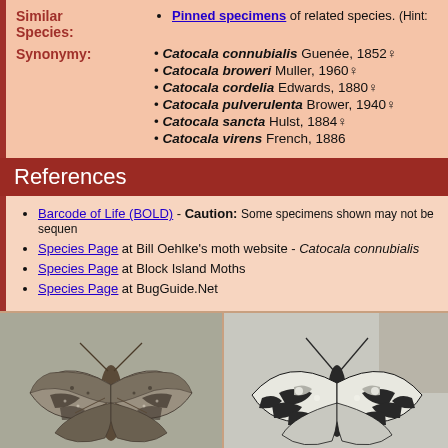Pinned specimens of related species. (Hint...)
Synonymy: • Catocala connubialis Guenée, 1852 • Catocala broweri Muller, 1960 • Catocala cordelia Edwards, 1880 • Catocala pulverulenta Brower, 1940 • Catocala sancta Hulst, 1884 • Catocala virens French, 1886
References
Barcode of Life (BOLD) - Caution: Some specimens shown may not be sequenced...
Species Page at Bill Oehlke's moth website - Catocala connubialis
Species Page at Block Island Moths
Species Page at BugGuide.Net
[Figure (photo): Photograph of a moth specimen (Catocala connubialis) with wings spread, showing mottled grey-brown and black pattern, viewed from above.]
[Figure (photo): Black and white photograph of a moth specimen (Catocala connubialis) with wings spread, showing detailed wing pattern.]